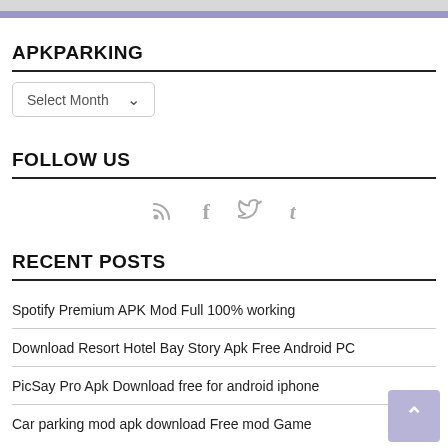APKPARKING
Select Month
FOLLOW US
[Figure (other): Social media icons: RSS, Facebook, Twitter, Tumblr]
RECENT POSTS
Spotify Premium APK Mod Full 100% working
Download Resort Hotel Bay Story Apk Free Android PC
PicSay Pro Apk Download free for android iphone
Car parking mod apk download Free mod Game